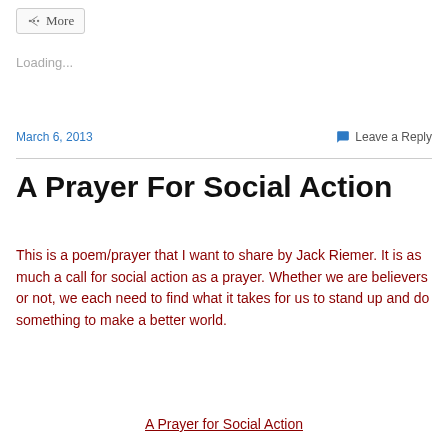More
Loading...
March 6, 2013
Leave a Reply
A Prayer For Social Action
This is a poem/prayer that I want to share by Jack Riemer. It is as much a call for social action as a prayer. Whether we are believers or not, we each need to find what it takes for us to stand up and do something to make a better world.
A Prayer for Social Action